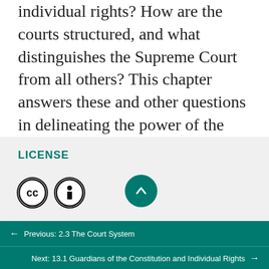individual rights? How are the courts structured, and what distinguishes the Supreme Court from all others? This chapter answers these and other questions in delineating the power of the judiciary in the United States.
LICENSE
[Figure (logo): Creative Commons CC icon circle and Attribution BY icon circle, plus an upward arrow button in teal]
Previous: 2.3 The Court System
Next: 13.1 Guardians of the Constitution and Individual Rights